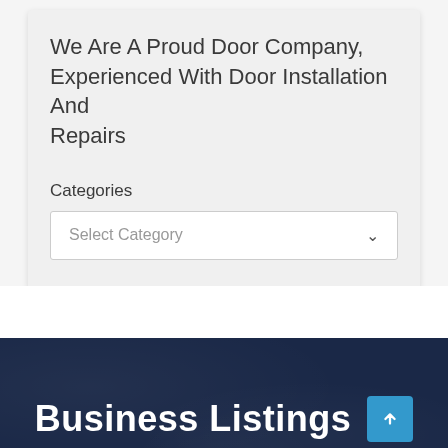We Are A Proud Door Company, Experienced With Door Installation And Repairs
Categories
Select Category
Business Listings